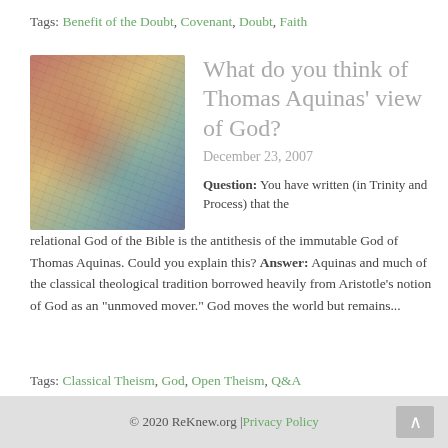Tags: Benefit of the Doubt, Covenant, Doubt, Faith
[Figure (photo): Close-up of cracked, textured surface with warm red, orange, yellow and cool blue-green tones, resembling dried earth or aged wood cross-section.]
What do you think of Thomas Aquinas' view of God?
December 23, 2007
Question: You have written (in Trinity and Process) that the relational God of the Bible is the antithesis of the immutable God of Thomas Aquinas. Could you explain this? Answer: Aquinas and much of the classical theological tradition borrowed heavily from Aristotle's notion of God as an "unmoved mover." God moves the world but remains...
Tags: Classical Theism, God, Open Theism, Q&A
Topics: Attributes and Character
© 2020 ReKnew.org | Privacy Policy